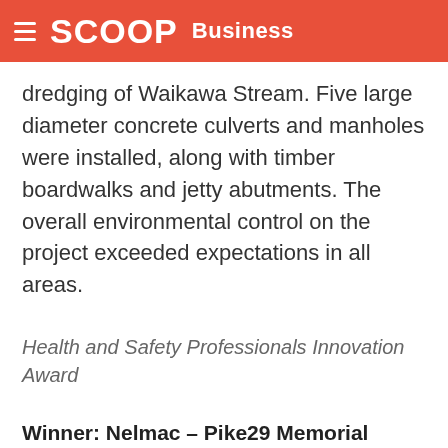SCOOP Business
dredging of Waikawa Stream. Five large diameter concrete culverts and manholes were installed, along with timber boardwalks and jetty abutments. The overall environmental control on the project exceeded expectations in all areas.
Health and Safety Professionals Innovation Award
Winner: Nelmac – Pike29 Memorial Track
Client: Department of Conservation
Value: $2.54 Million